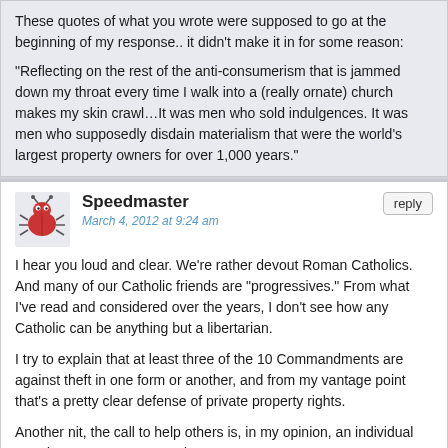These quotes of what you wrote were supposed to go at the beginning of my response.. it didn't make it in for some reason:
“Reflecting on the rest of the anti-consumerism that is jammed down my throat every time I walk into a (really ornate) church makes my skin crawl…It was men who sold indulgences. It was men who supposedly disdain materialism that were the world’s largest property owners for over 1,000 years.”
Speedmaster
March 4, 2012 at 9:24 am
I hear you loud and clear. We’re rather devout Roman Catholics. And many of our Catholic friends are “progressives.” From what I’ve read and considered over the years, I don’t see how any Catholic can be anything but a libertarian.
I try to explain that at least three of the 10 Commandments are against theft in one form or another, and from my vantage point that’s a pretty clear defense of private property rights.
Another nit, the call to help others is, in my opinion, an individual mandate, not a group mandate.
The fact that people like Ted Kennedy, Biden, Pelosi, etc. can call themselves Catholic is a mystery to me.
Speedmaster
March 4, 2012 at 9:24 am